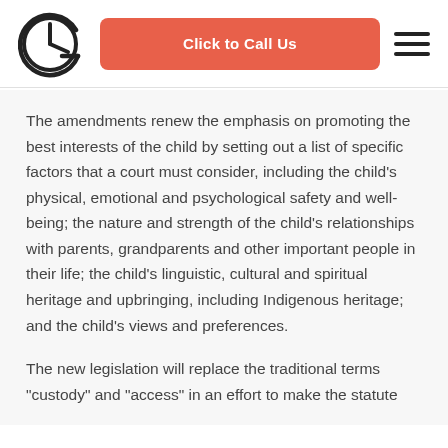Click to Call Us
The amendments renew the emphasis on promoting the best interests of the child by setting out a list of specific factors that a court must consider, including the child’s physical, emotional and psychological safety and well-being; the nature and strength of the child’s relationships with parents, grandparents and other important people in their life; the child’s linguistic, cultural and spiritual heritage and upbringing, including Indigenous heritage; and the child’s views and preferences.
The new legislation will replace the traditional terms “custody” and “access” in an effort to make the statute